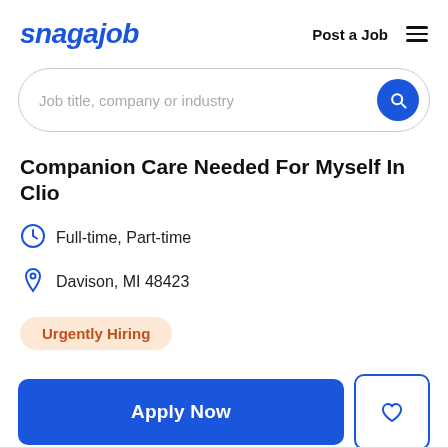snagajob | Post a Job
Job title, company or industry
Companion Care Needed For Myself In Clio
Full-time, Part-time
Davison, MI 48423
Urgently Hiring
Apply Now